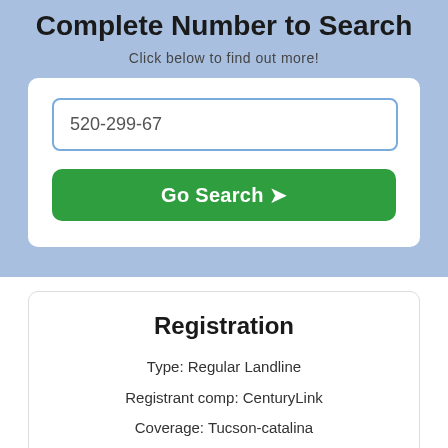Complete Number to Search
Click below to find out more!
520-299-67
Go Search ➤
Registration
Type: Regular Landline
Registrant comp: CenturyLink
Coverage: Tucson-catalina
Area code: 520
Sub-code: 520-299